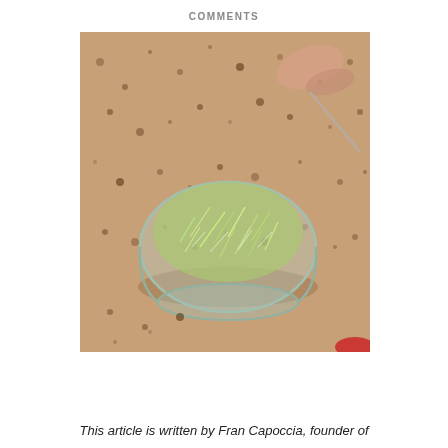COMMENTS
[Figure (photo): A glass bowl containing green sprouts/microgreens sitting on a granite countertop. A spoon handle is visible in the background and a red lid is partially visible at the bottom right.]
This article is written by Fran Capoccia, founder of